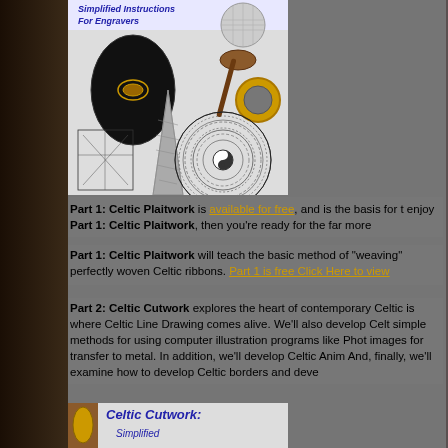[Figure (photo): Book cover image showing Celtic engraving examples: black stone with gold Celtic inlay, wooden spoon with engraving, gold ring, Celtic knotwork disc, and an engraved dagger blade. Title reads 'Simplified Instructions For Engravers']
Part 1: Celtic Plaitwork is available for free, and is the basis for enjoy Part 1: Celtic Plaitwork, then you're ready for the far more
Part 1: Celtic Plaitwork will teach the basic method of "weaving" perfectly woven Celtic ribbons. Part 1 is free Click Here to view
Part 2: Celtic Cutwork explores the heart of contemporary Celtic is where Celtic Line Drawing comes alive. We'll also develop Celt simple methods for using computer illustration programs like Phot images for transfer to metal. In addition, we'll develop Celtic Anim And, finally, we'll examine how to develop Celtic borders and deve
[Figure (photo): Bottom portion of book cover for 'Celtic Cutwork: Simplified' showing partial image of Celtic artwork]